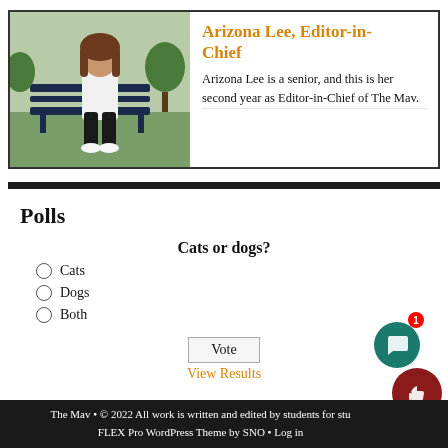[Figure (photo): Photo of Arizona Lee sitting on a bench outdoors]
Arizona Lee, Editor-in-Chief
Arizona Lee is a senior, and this is her second year as Editor-in-Chief of The Mav. She enjoys reading, listening...
Polls
Cats or dogs?
Cats
Dogs
Both
Vote
View Results
The Mav • © 2022 All work is written and edited by students for students • FLEX Pro WordPress Theme by SNO • Log in